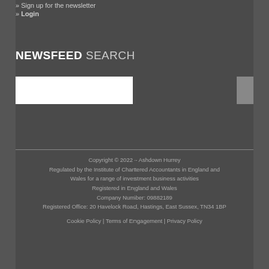» Sign up for the newsletter
» Login
NEWSFEED SEARCH
Copyright © 2022 - Ashdown Hurrey
Regulated by the Institute of Chartered Accountants in England and Wales for a range of investment business activities
Registered in England and Wales
Company Number: 09882189
Registered Office: 20 Havelock Road, Hastings, East Sussex, TN34 1BP

Cookie Policy | Terms of Engagement | Privacy Policy